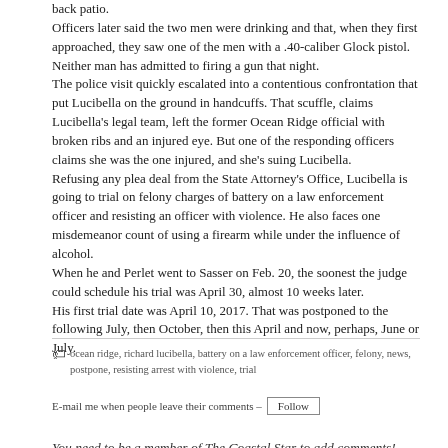back patio. Officers later said the two men were drinking and that, when they first approached, they saw one of the men with a .40-caliber Glock pistol. Neither man has admitted to firing a gun that night. The police visit quickly escalated into a contentious confrontation that put Lucibella on the ground in handcuffs. That scuffle, claims Lucibella's legal team, left the former Ocean Ridge official with broken ribs and an injured eye. But one of the responding officers claims she was the one injured, and she's suing Lucibella. Refusing any plea deal from the State Attorney's Office, Lucibella is going to trial on felony charges of battery on a law enforcement officer and resisting an officer with violence. He also faces one misdemeanor count of using a firearm while under the influence of alcohol. When he and Perlet went to Sasser on Feb. 20, the soonest the judge could schedule his trial was April 30, almost 10 weeks later. His first trial date was April 10, 2017. That was postponed to the following July, then October, then this April and now, perhaps, June or July.
ocean ridge, richard lucibella, battery on a law enforcement officer, felony, news, postpone, resisting arrest with violence, trial
E-mail me when people leave their comments –
You need to be a member of The Coastal Star to add comments!